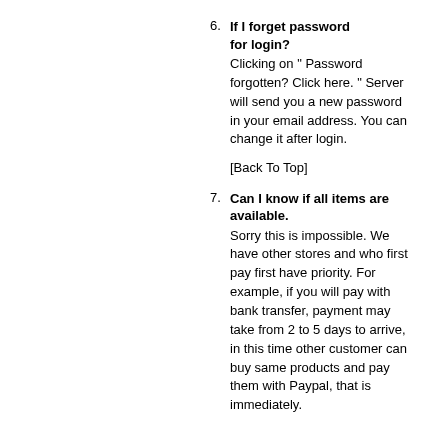6. If I forget password for login? Clicking on " Password forgotten? Click here. " Server will send you a new password in your email address. You can change it after login.
[Back To Top]
7. Can I know if all items are available. Sorry this is impossible. We have other stores and who first pay first have priority. For example, if you will pay with bank transfer, payment may take from 2 to 5 days to arrive, in this time other customer can buy same products and pay them with Paypal, that is immediately.